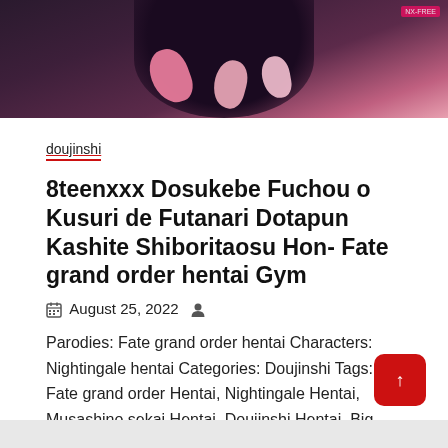[Figure (illustration): Anime/manga style illustration with dark purple background showing stylized pink balloon-like shapes and a dark figure, with a small watermark in the top right corner.]
doujinshi
8teenxxx Dosukebe Fuchou o Kusuri de Futanari Dotapun Kashite Shiboritaosu Hon- Fate grand order hentai Gym
August 25, 2022
Parodies: Fate grand order hentai Characters: Nightingale hentai Categories: Doujinshi Tags: Fate grand order Hentai, Nightingale Hentai, Musashino sekai Hentai, Doujinshi Hentai, Big breasts Hentai,
Read More